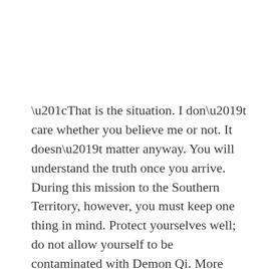“That is the situation. I don’t care whether you believe me or not. It doesn’t matter anyway. You will understand the truth once you arrive. During this mission to the Southern Territory, however, you must keep one thing in mind. Protect yourselves well; do not allow yourself to be contaminated with Demon Qi. More importantly, you need to be on guard against Demon Spirit possession. If the former situation